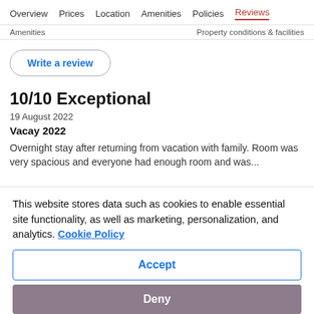Overview  Prices  Location  Amenities  Policies  Reviews
Amenities   Property conditions & facilities
Write a review
10/10 Exceptional
19 August 2022
Vacay 2022
Overnight stay after returning from vacation with family. Room was very spacious and everyone had enough room and was...
This website stores data such as cookies to enable essential site functionality, as well as marketing, personalization, and analytics. Cookie Policy
Accept
Deny